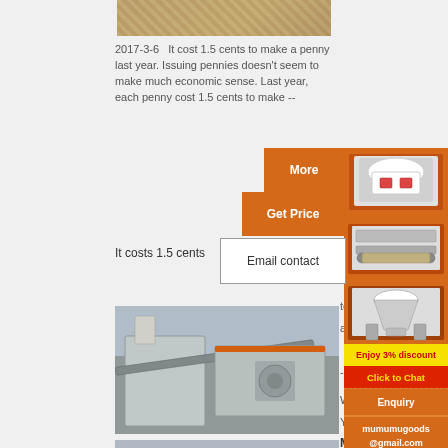[Figure (photo): Partial view of sandy/industrial surface, top of page]
2017-3-6   It cost 1.5 cents to make a penny last year. Issuing pennies doesn't seem to make much economic sense. Last year, each penny cost 1.5 cents to make --
It costs 1.5 cents
[Figure (infographic): Orange 'More' button panel]
[Figure (infographic): Orange 'Get Price' button panel]
[Figure (infographic): White 'Email contact' button]
[Figure (photo): Industrial machinery / crusher equipment photo]
[Figure (infographic): Right sidebar with machinery images, discount banner, Click to Chat, Enquiry, and email mumumugoods@gmail.com]
to
a p
- D
Wa
Yo
Money